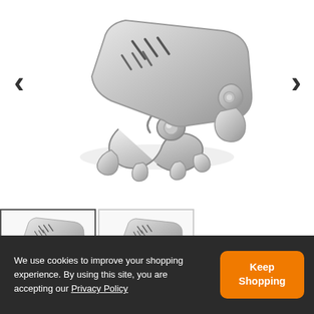[Figure (photo): Main product photo showing a silver metallic mechanical clip/clamp hardware piece viewed from above at an angle, with ridged top plate and decorative S-shaped base, on white background]
[Figure (photo): Thumbnail 1 (selected/highlighted): Same silver metallic clip/clamp product shown from a slightly different angle, smaller size]
[Figure (photo): Thumbnail 2: Same silver metallic clip/clamp product shown from another angle, smaller size]
We use cookies to improve your shopping experience. By using this site, you are accepting our Privacy Policy
Keep Shopping